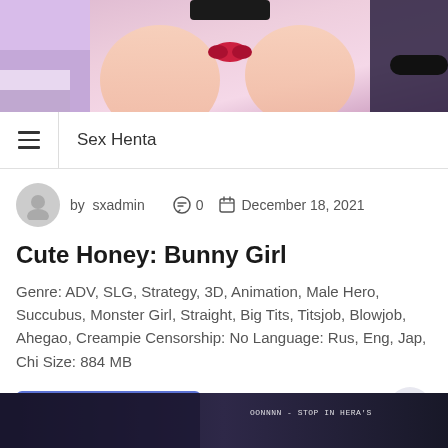[Figure (illustration): Anime/hentai illustration cropped showing character torso and accessories in pink and purple tones]
Sex Henta
by sxadmin   0   December 18, 2021
Cute Honey: Bunny Girl
Genre: ADV, SLG, Strategy, 3D, Animation, Male Hero, Succubus, Monster Girl, Straight, Big Tits, Titsjob, Blowjob, Ahegao, Creampie Censorship: No Language: Rus, Eng, Jap, Chi Size: 884 MB
Continue Reading
[Figure (screenshot): Dark screenshot of anime content with white text overlay at bottom right]